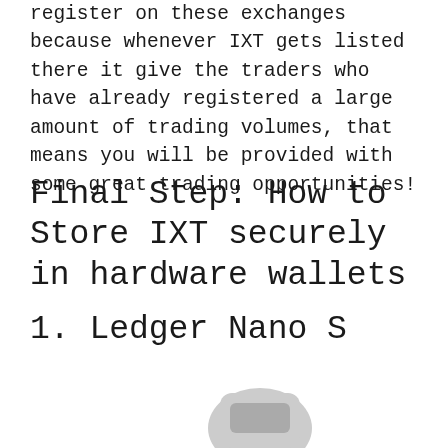register on these exchanges because whenever IXT gets listed there it give the traders who have already registered a large amount of trading volumes, that means you will be provided with some great trading opportunities!
Final Step: How to Store IXT securely in hardware wallets
1. Ledger Nano S
[Figure (illustration): Partial image of a hardware wallet device (Ledger Nano S) visible at the bottom of the page]